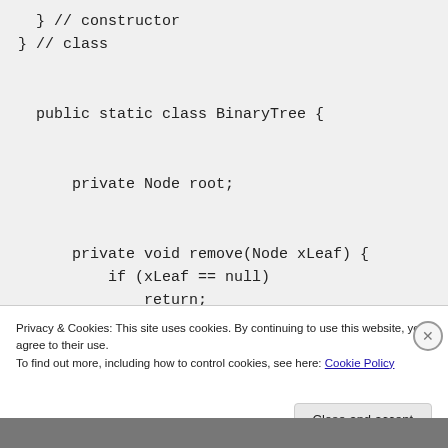} // constructor
} // class

public static class BinaryTree {

    private Node root;


    private void remove(Node xLeaf) {
        if (xLeaf == null)
            return;
Privacy & Cookies: This site uses cookies. By continuing to use this website, you agree to their use.
To find out more, including how to control cookies, see here: Cookie Policy
Close and accept